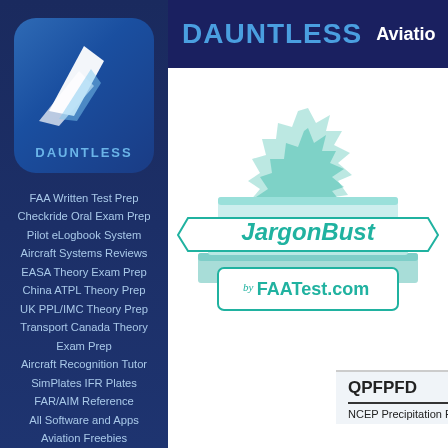[Figure (logo): Dauntless Aviation logo — blue rounded square with white stylized wing/chevron shapes and 'DAUNTLESS' text below]
FAA Written Test Prep
Checkride Oral Exam Prep
Pilot eLogbook System
Aircraft Systems Reviews
EASA Theory Exam Prep
China ATPL Theory Prep
UK PPL/IMC Theory Prep
Transport Canada Theory Exam Prep
Aircraft Recognition Tutor
SimPlates IFR Plates
FAR/AIM Reference
All Software and Apps
Aviation Freebies
DAUNTLESS   Aviation
[Figure (logo): JargonBuster by FAATest.com logo — teal/turquoise stacked books with banner ribbon reading 'JargonBuster' and sub-banner 'by FAATest.com', on decorative starburst background]
QPFPFD
NCEP Precipitation Forecast Discussion